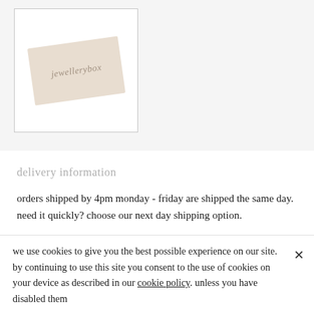[Figure (photo): A jewellerybox branded beige/cream gift card shown at a slight angle inside a white bordered image box]
delivery information
orders shipped by 4pm monday - friday are shipped the same day. need it quickly? choose our next day shipping option.
personalisation can add up to 3 working days to
we use cookies to give you the best possible experience on our site. by continuing to use this site you consent to the use of cookies on your device as described in our cookie policy. unless you have disabled them